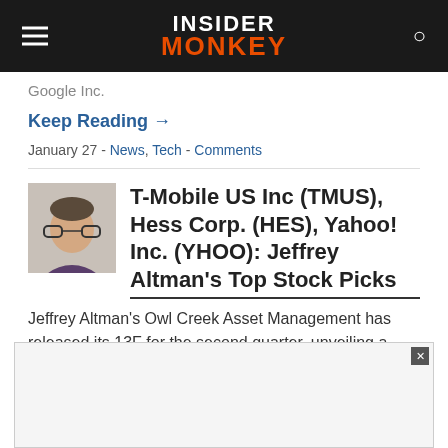Insider Monkey
Google Inc.
Keep Reading →
January 27 - News, Tech - Comments
[Figure (photo): Author headshot photo of Jeffrey Altman, a man with glasses and dark hair]
T-Mobile US Inc (TMUS), Hess Corp. (HES), Yahoo! Inc. (YHOO): Jeffrey Altman's Top Stock Picks
Jeffrey Altman's Owl Creek Asset Management has released its 13F for the second quarter, unveiling a total of 20 positions that have a value of roughly $2 billion.